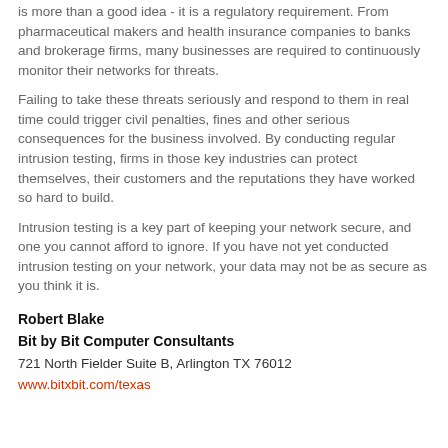is more than a good idea - it is a regulatory requirement. From pharmaceutical makers and health insurance companies to banks and brokerage firms, many businesses are required to continuously monitor their networks for threats.
Failing to take these threats seriously and respond to them in real time could trigger civil penalties, fines and other serious consequences for the business involved. By conducting regular intrusion testing, firms in those key industries can protect themselves, their customers and the reputations they have worked so hard to build.
Intrusion testing is a key part of keeping your network secure, and one you cannot afford to ignore. If you have not yet conducted intrusion testing on your network, your data may not be as secure as you think it is.
Robert Blake
Bit by Bit Computer Consultants
721 North Fielder Suite B, Arlington TX 76012
www.bitxbit.com/texas